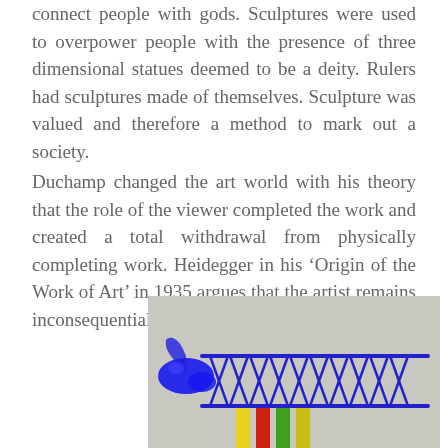connect people with gods. Sculptures were used to overpower people with the presence of three dimensional statues deemed to be a deity. Rulers had sculptures made of themselves. Sculpture was valued and therefore a method to mark out a society.
Duchamp changed the art world with his theory that the role of the viewer completed the work and created a total withdrawal from physically completing work. Heidegger in his ‘Origin of the Work of Art’ in 1935 argues that the artist remains inconsequential.
[Figure (photo): A sculptural artwork consisting of a horizontal blue wire frame structure resembling a comb or rake shape, with a large blue glass blob on the left end, supported by colorful vertical rods (yellow, red, green, yellow-green) at the bottom, set against a light grey background.]